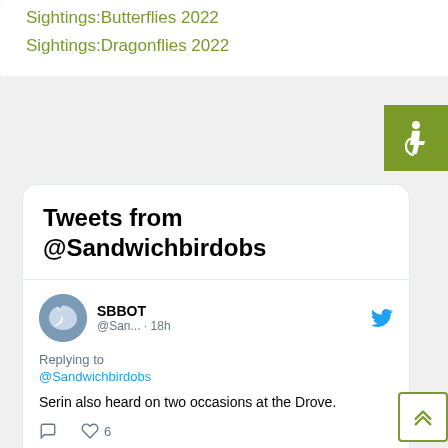Sightings:Butterflies 2022
Sightings:Dragonflies 2022
[Figure (other): Accessibility icon (wheelchair symbol) on green background]
Tweets from @Sandwichbirdobs
[Figure (other): Twitter/social media embed showing SBBOT (@San...) tweet: Replying to @Sandwichbirdobs — Serin also heard on two occasions at the Drove. — 6 likes, 18h]
[Figure (other): Twitter/social media embed showing SBBOT (@San...) tweet header, 18h]
[Figure (other): Scroll-to-top button with upward chevron on white background with olive-green border]